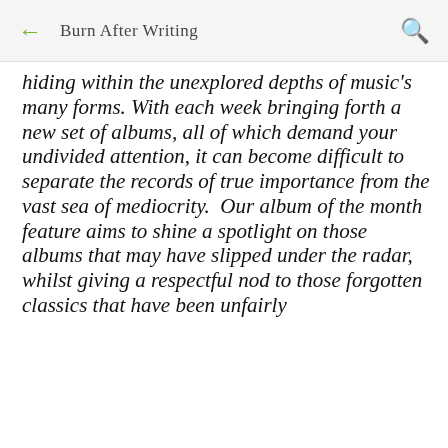← Burn After Writing 🔍
hiding within the unexplored depths of music's many forms. With each week bringing forth a new set of albums, all of which demand your undivided attention, it can become difficult to separate the records of true importance from the vast sea of mediocrity.  Our album of the month feature aims to shine a spotlight on those albums that may have slipped under the radar, whilst giving a respectful nod to those forgotten classics that have been unfairly